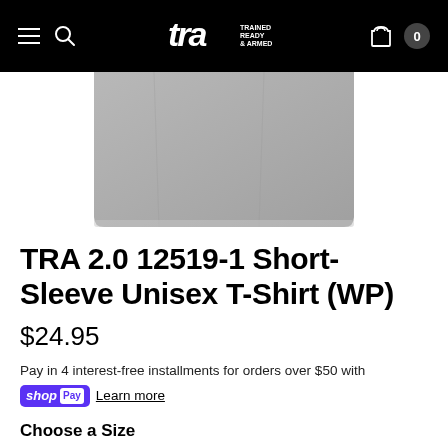TRA - Trained Ready & Armed navigation header with hamburger menu, search, logo, cart
[Figure (photo): Partial view of a grey short-sleeve unisex t-shirt product on white background]
TRA 2.0 12519-1 Short-Sleeve Unisex T-Shirt (WP)
$24.95
Pay in 4 interest-free installments for orders over $50 with shopPay Learn more
Choose a Size